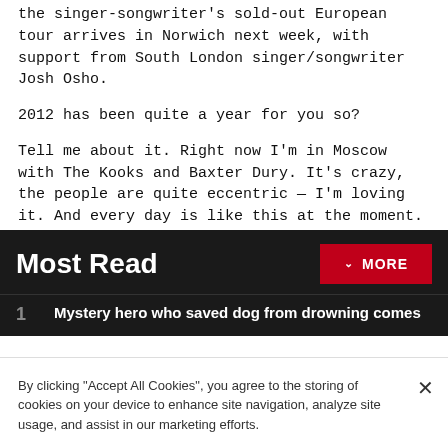the singer-songwriter's sold-out European tour arrives in Norwich next week, with support from South London singer/songwriter Josh Osho.
2012 has been quite a year for you so?
Tell me about it. Right now I'm in Moscow with The Kooks and Baxter Dury. It's crazy, the people are quite eccentric — I'm loving it. And every day is like this at the moment. There's always something really bizarre happening. I definitely couldn't have imagined being in Russia doing this, a year ago.
Most Read
MORE
1
Mystery hero who saved dog from drowning comes
By clicking "Accept All Cookies", you agree to the storing of cookies on your device to enhance site navigation, analyze site usage, and assist in our marketing efforts.